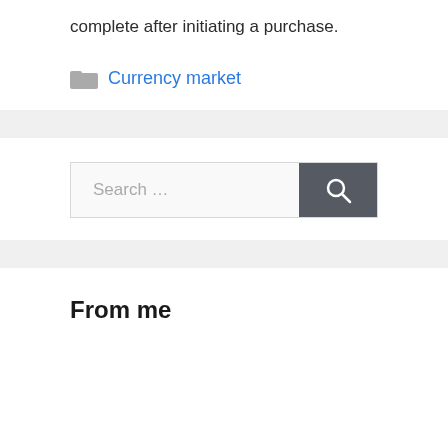complete after initiating a purchase.
Currency market
[Figure (other): Search box with placeholder text 'Search ...' and a dark grey search button with magnifying glass icon]
From me